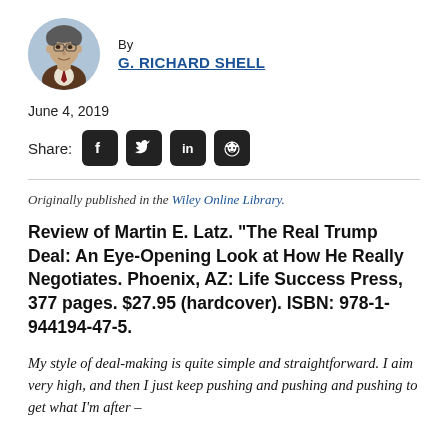[Figure (photo): Circular headshot photo of G. Richard Shell, a man in a suit]
By
G. RICHARD SHELL
June 4, 2019
[Figure (infographic): Share: social media icons for Facebook, Twitter, LinkedIn, Reddit]
Originally published in the Wiley Online Library.
Review of Martin E. Latz. “The Real Trump Deal: An Eye-Opening Look at How He Really Negotiates. Phoenix, AZ: Life Success Press, 377 pages. $27.95 (hardcover). ISBN: 978-1-944194-47-5.
My style of deal-making is quite simple and straightforward. I aim very high, and then I just keep pushing and pushing and pushing to get what I’m after –